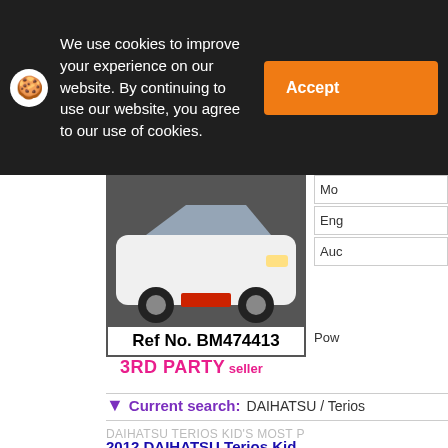We use cookies to improve your experience on our website. By continuing to use our website, you agree to our use of cookies.
Accept
[Figure (photo): White Daihatsu Terios Kid car, front view, watermarked with BE FORWARD Ref BM474413]
Ref No. BM474413
3RD PARTY seller
Mo
Eng
Auc
Pow
Current search: DAIHATSU / Terios
DAIHATSU TERIOS KID'S MOST P
2012 DAIHATSU Terios Kid
2011 DAIHATSU Terios Kid